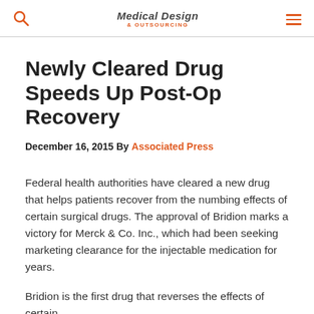Medical Design & Outsourcing
Newly Cleared Drug Speeds Up Post-Op Recovery
December 16, 2015 By Associated Press
Federal health authorities have cleared a new drug that helps patients recover from the numbing effects of certain surgical drugs. The approval of Bridion marks a victory for Merck & Co. Inc., which had been seeking marketing clearance for the injectable medication for years.
Bridion is the first drug that reverses the effects of certain